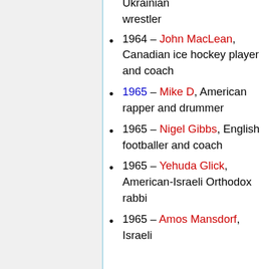Ukrainian wrestler
1964 – John MacLean, Canadian ice hockey player and coach
1965 – Mike D, American rapper and drummer
1965 – Nigel Gibbs, English footballer and coach
1965 – Yehuda Glick, American-Israeli Orthodox rabbi
1965 – Amos Mansdorf, Israeli...